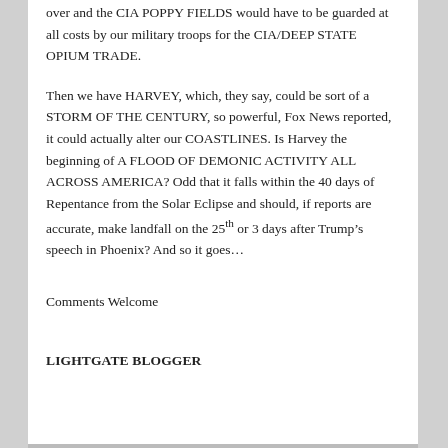over and the CIA POPPY FIELDS would have to be guarded at all costs by our military troops for the CIA/DEEP STATE OPIUM TRADE.
Then we have HARVEY, which, they say, could be sort of a STORM OF THE CENTURY, so powerful, Fox News reported, it could actually alter our COASTLINES. Is Harvey the beginning of A FLOOD OF DEMONIC ACTIVITY ALL ACROSS AMERICA? Odd that it falls within the 40 days of Repentance from the Solar Eclipse and should, if reports are accurate, make landfall on the 25th or 3 days after Trump’s speech in Phoenix? And so it goes…
Comments Welcome
LIGHTGATE BLOGGER